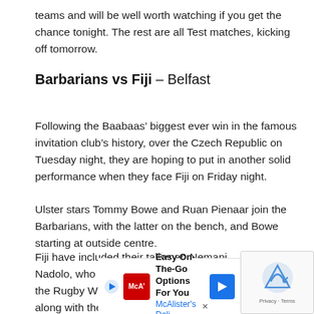teams and will be well worth watching if you get the chance tonight. The rest are all Test matches, kicking off tomorrow.
Barbarians vs Fiji – Belfast
Following the Baabaas' biggest ever win in the famous invitation club's history, over the Czech Republic on Tuesday night, they are hoping to put in another solid performance when they face Fiji on Friday night.
Ulster stars Tommy Bowe and Ruan Pienaar join the Barbarians, with the latter on the bench, and Bowe starting at outside centre.
Fiji have included their talisman Nemani Nadolo, who was a star performer during the Rugby World Cup last year, and along with the return of Barbarians winger Taqele Naiyaravoro, will be one t✕w for.
[Figure (other): McAlister's Deli advertisement: Easy On-The-Go Options For You]